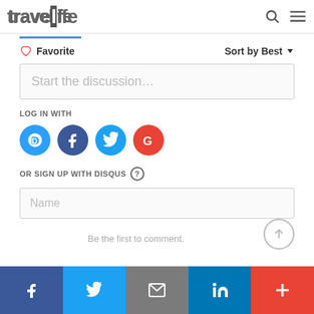travelife
Favorite   Sort by Best
Start the discussion…
LOG IN WITH
[Figure (infographic): Four social login icons: Disqus (blue), Facebook (dark blue), Twitter (light blue), Google (red)]
OR SIGN UP WITH DISQUS ?
Name
Be the first to comment.
[Figure (infographic): Bottom share bar with Facebook, Twitter, Email, LinkedIn, and plus icons]